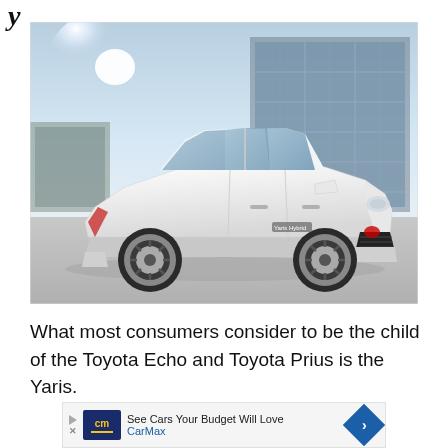y
[Figure (photo): White Toyota Yaris hybrid hatchback photographed from a three-quarter front angle in a parking area with a modern glass building in the background.]
What most consumers consider to be the child of the Toyota Echo and Toyota Prius is the Yaris.
[Figure (infographic): CarMax advertisement banner: 'See Cars Your Budget Will Love' with CarMax logo and blue diamond arrow icon.]